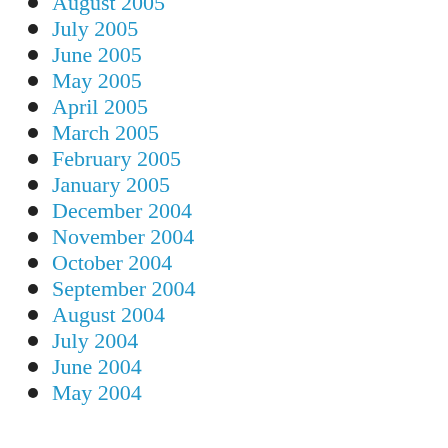August 2005
July 2005
June 2005
May 2005
April 2005
March 2005
February 2005
January 2005
December 2004
November 2004
October 2004
September 2004
August 2004
July 2004
June 2004
May 2004